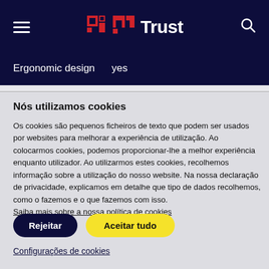[Figure (logo): Trust brand logo with hamburger menu icon on left and search icon on right, on dark navy background]
Ergonomic design    yes
Nós utilizamos cookies
Os cookies são pequenos ficheiros de texto que podem ser usados por websites para melhorar a experiência de utilização. Ao colocarmos cookies, podemos proporcionar-lhe a melhor experiência enquanto utilizador. Ao utilizarmos estes cookies, recolhemos informação sobre a utilização do nosso website. Na nossa declaração de privacidade, explicamos em detalhe que tipo de dados recolhemos, como o fazemos e o que fazemos com isso. Saiba mais sobre a nossa política de cookies
Rejeitar
Aceitar tudo
Configurações de cookies